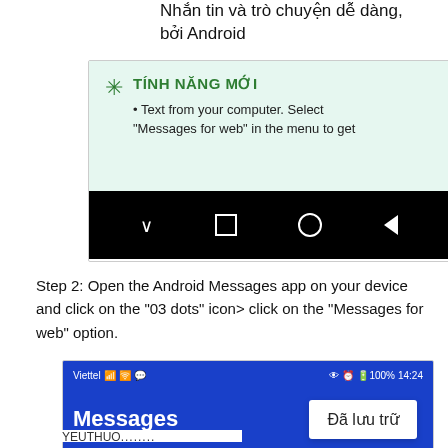Nhắn tin và trò chuyện dễ dàng, bởi Android
[Figure (screenshot): Android Messages app screenshot showing TÍNH NĂNG MỚI (new feature) panel with text 'Text from your computer. Select "Messages for web" in the menu to get' and a black navigation bar with chevron, square, circle, and back arrow icons.]
Step 2: Open the Android Messages app on your device and click on the "03 dots" icon> click on the "Messages for web" option.
[Figure (screenshot): Android phone screenshot showing Viettel carrier status bar, Messages app header in blue, and a dropdown menu showing 'Đã lưu trữ' option, with YEUTHUO... text partially visible at bottom.]